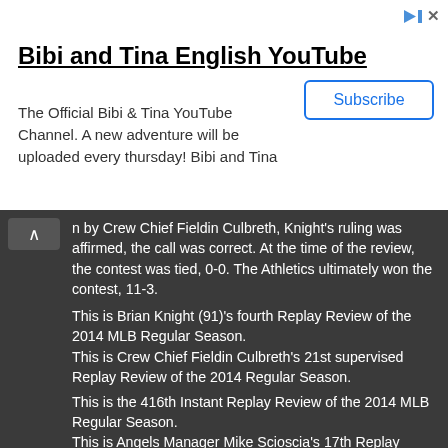[Figure (other): YouTube ad banner for 'Bibi and Tina English YouTube' channel with Subscribe button and small play/close icons in top right]
Bibi and Tina English YouTube
The Official Bibi & Tina YouTube Channel. A new adventure will be uploaded every thursday! Bibi and Tina
n by Crew Chief Fieldin Culbreth, Knight's ruling was affirmed, the call was correct. At the time of the review, the contest was tied, 0-0. The Athletics ultimately won the contest, 11-3.

This is Brian Knight (91)'s fourth Replay Review of the 2014 MLB Regular Season.
This is Crew Chief Fieldin Culbreth's 21st supervised Replay Review of the 2014 Regular Season.

This is the 416th Instant Replay Review of the 2014 MLB Regular Season.
This is Angels Manager Mike Scioscia's 17th Replay Review of 2014.
Umpires are now 222/416 (.534 Affirmation Rate) in Replay Reviews during the 2014 MLB season.